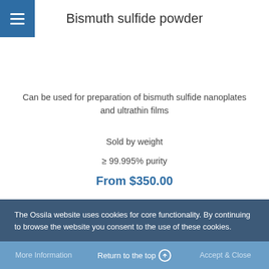Bismuth sulfide powder
Can be used for preparation of bismuth sulfide nanoplates and ultrathin films
Sold by weight
≥ 99.995% purity
From $350.00
Bismuth sulfide crystals by size
The Ossila website uses cookies for core functionality. By continuing to browse the website you consent to the use of these cookies.
More Information   Return to the top   Accept & Close